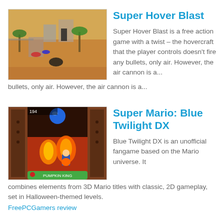[Figure (screenshot): 3D desert scene game screenshot showing hovercrafts, palm trees, and sandy terrain with buildings]
Super Hover Blast
Super Hover Blast is a free action game with a twist – the hovercraft that the player controls doesn't fire any bullets, only air. However, the air cannon is a...
[Figure (screenshot): 2D platformer game screenshot showing Mario-style character in a Halloween-themed level with fire and PUMPKIN KING label]
Super Mario: Blue Twilight DX
Blue Twilight DX is an unofficial fangame based on the Mario universe. It combines elements from 3D Mario titles with classic, 2D gameplay, set in Halloween-themed levels.
FreePCGamers review